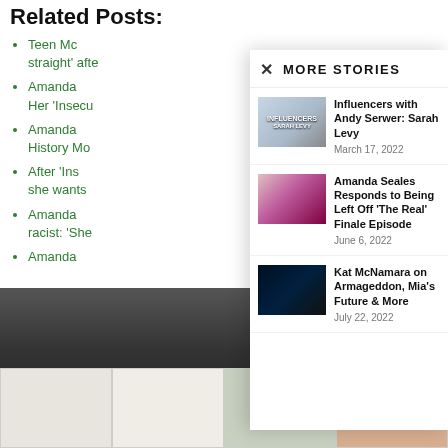Related Posts:
Teen Mc... straight' afte...
Amanda... Her 'Insecur...
Amanda... History Mo...
After 'Ins... she wants
Amanda... racist: 'She...
Amanda...
MORE STORIES
Influencers with Andy Serwer: Sarah Levy
March 17, 2022
Amanda Seales Responds to Being Left Off 'The Real' Finale Episode
June 6, 2022
Kat McNamara on Armageddon, Mia's Future & More
July 22, 2022